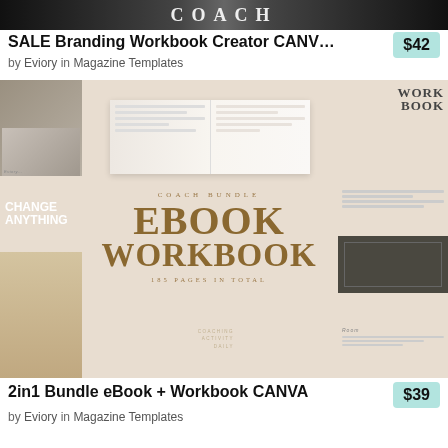[Figure (screenshot): Cropped top portion of a branding workbook product image showing THE COACH text on dark background]
SALE Branding Workbook Creator CANV…
by Eviory in Magazine Templates
$42
[Figure (photo): Product mockup image of Coach Bundle Ebook Workbook CANVA template showing multiple page layouts in beige/neutral tones with text COACH BUNDLE EBOOK WORKBOOK 185 PAGES IN TOTAL]
2in1 Bundle eBook + Workbook CANVA
by Eviory in Magazine Templates
$39